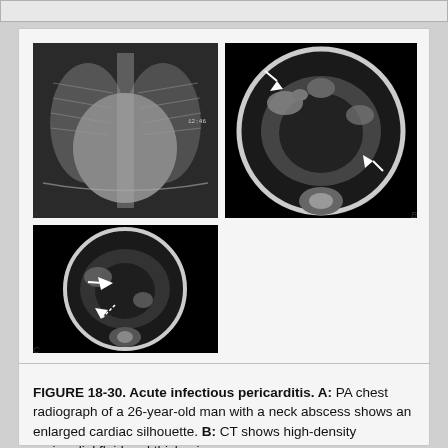[Figure (photo): Three medical images: (A) PA chest radiograph showing enlarged cardiac silhouette in a 26-year-old man with neck abscess. (B) CT image showing high-density pericardial fluid and thickening with white arrows. (C) CT image showing additional findings with solid and dashed arrows.]
FIGURE 18-30. Acute infectious pericarditis. A: PA chest radiograph of a 26-year-old man with a neck abscess shows an enlarged cardiac silhouette. B: CT shows high-density pericardial fluid and thickening